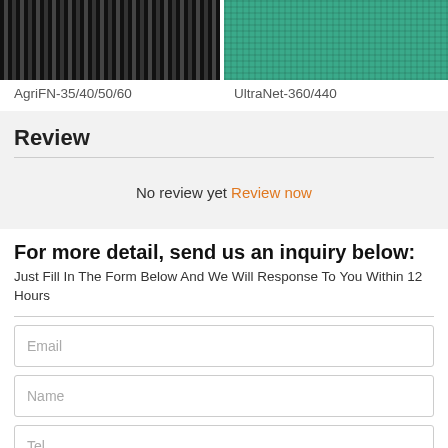[Figure (photo): Two product images side by side: left shows a dark mesh/net material (AgriFN-35/40/50/60), right shows a green mesh/net material (UltraNet-360/440)]
AgriFN-35/40/50/60
UltraNet-360/440
Review
No review yet Review now
For more detail, send us an inquiry below:
Just Fill In The Form Below And We Will Response To You Within 12 Hours
Email
Name
Tel